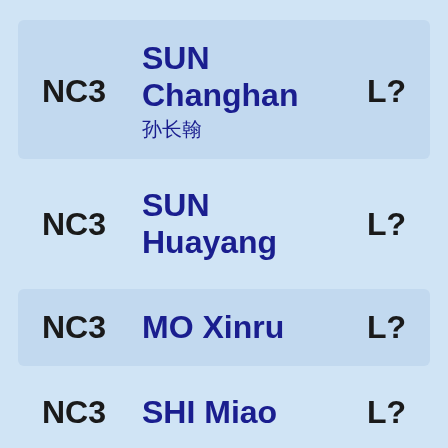| Code | Name | Status |
| --- | --- | --- |
| NC3 | SUN Changhan 孙长翰 | L? |
| NC3 | SUN Huayang | L? |
| NC3 | MO Xinru | L? |
| NC3 | SHI Miao | L? |